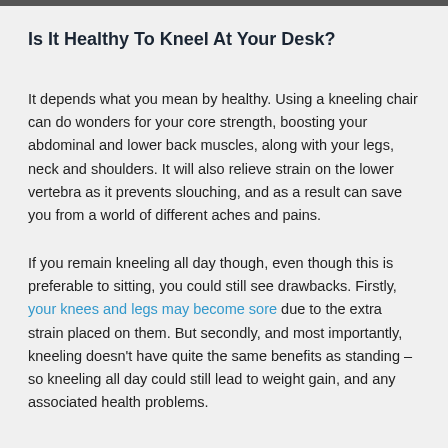Is It Healthy To Kneel At Your Desk?
It depends what you mean by healthy. Using a kneeling chair can do wonders for your core strength, boosting your abdominal and lower back muscles, along with your legs, neck and shoulders. It will also relieve strain on the lower vertebra as it prevents slouching, and as a result can save you from a world of different aches and pains.
If you remain kneeling all day though, even though this is preferable to sitting, you could still see drawbacks. Firstly, your knees and legs may become sore due to the extra strain placed on them. But secondly, and most importantly, kneeling doesn't have quite the same benefits as standing – so kneeling all day could still lead to weight gain, and any associated health problems.